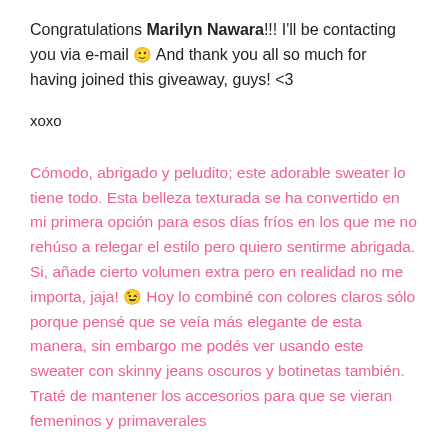Congratulations Marilyn Nawara!!! I'll be contacting you via e-mail 🙂 And thank you all so much for having joined this giveaway, guys! <3
xoxo
Cómodo, abrigado y peludito; este adorable sweater lo tiene todo. Esta belleza texturada se ha convertido en mi primera opción para esos días fríos en los que me no rehúso a relegar el estilo pero quiero sentirme abrigada. Si, añade cierto volumen extra pero en realidad no me importa, jaja! 😉 Hoy lo combiné con colores claros sólo porque pensé que se veía más elegante de esta manera, sin embargo me podés ver usando este sweater con skinny jeans oscuros y botinetas también. Traté de mantener los accesorios para que se vieran femeninos y primaverales